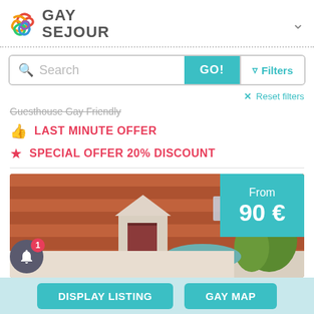GAY SEJOUR
Search  GO!  Filters
Reset filters
Guesthouse Gay Friendly
LAST MINUTE OFFER
SPECIAL OFFER 20% DISCOUNT
[Figure (photo): A guesthouse property showing terracotta roof tiles, a small dormer window with red door, green trees, and a teal outdoor umbrella. Price badge shows From 90€.]
DISPLAY LISTING   GAY MAP